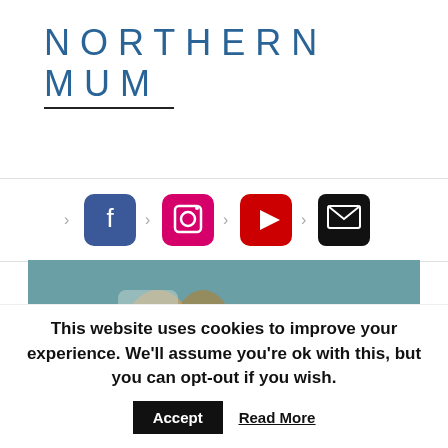NORTHERN MUM
[Figure (logo): Social media navigation icons: Facebook (blue), Instagram (pink gradient), YouTube (red), Email (black), with chevron separators]
[Figure (photo): Hero image showing hands holding with text overlay: PARENTS OF THE TYPE 1 DIABETIC WARRIORS]
This website uses cookies to improve your experience. We'll assume you're ok with this, but you can opt-out if you wish. Accept Read More